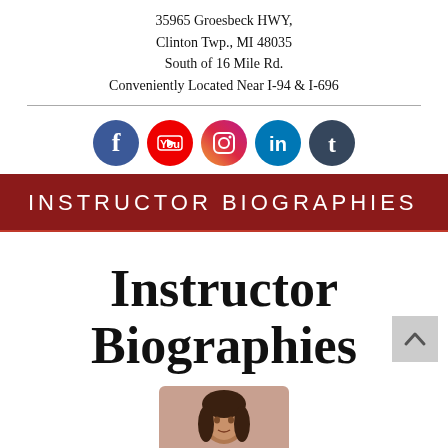35965 Groesbeck HWY,
Clinton Twp., MI 48035
South of 16 Mile Rd.
Conveniently Located Near I-94 & I-696
[Figure (other): Social media icons: Facebook, YouTube, Instagram, LinkedIn, Tumblr]
INSTRUCTOR BIOGRAPHIES
Instructor Biographies
[Figure (photo): Portrait photo of a woman with dark hair, partially visible at bottom of page]